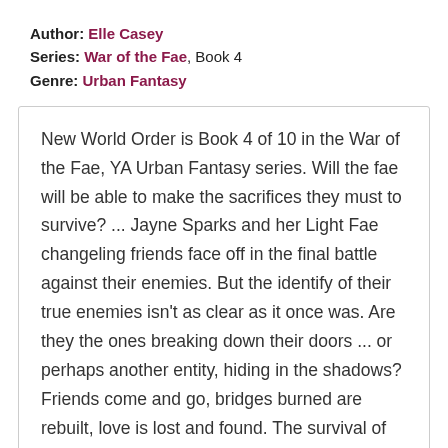Author: Elle Casey
Series: War of the Fae, Book 4
Genre: Urban Fantasy
New World Order is Book 4 of 10 in the War of the Fae, YA Urban Fantasy series. Will the fae will be able to make the sacrifices they must to survive? ... Jayne Sparks and her Light Fae changeling friends face off in the final battle against their enemies. But the identify of their true enemies isn't as clear as it once was. Are they the ones breaking down their doors ... or perhaps another entity, hiding in the shadows? Friends come and go, bridges burned are rebuilt, love is lost and found. The survival of the fae depends on the answer to one question: Which burns hotter ... hatred or hope?